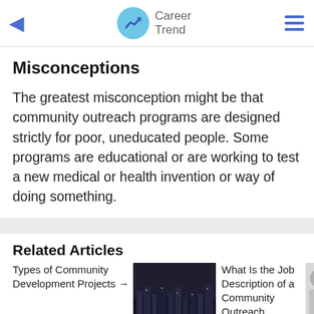Career Trend
Misconceptions
The greatest misconception might be that community outreach programs are designed strictly for poor, uneducated people. Some programs are educational or are working to test a new medical or health invention or way of doing something.
Related Articles
Types of Community Development Projects →
What Is the Job Description of a Community Outreach Worker?